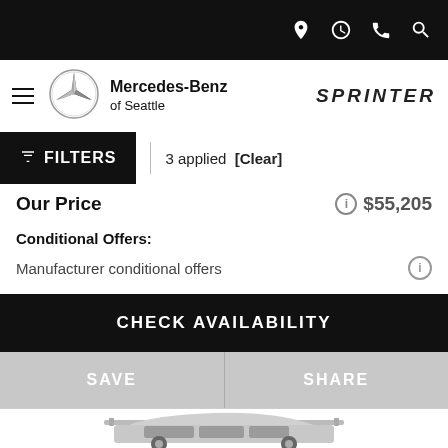Navigation bar with location, clock, phone, search icons
[Figure (logo): Mercedes-Benz of Seattle logo with three-pointed star emblem and Sprinter brand logo]
FILTERS | 3 applied [Clear]
Our Price $55,205
Conditional Offers:
Manufacturer conditional offers
CHECK AVAILABILITY
SAVE
SHARE
[Figure (photo): Partial view of a Mercedes-Benz SUV from the top/rear angle, black and white]